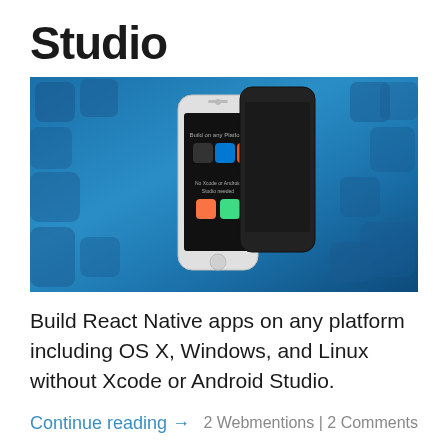Studio
[Figure (screenshot): A promotional screenshot showing two smartphones (one white, one black) against a blue background of social media app icons. The phone screen displays 'Build on any Platform' with iOS, Windows, and Linux icons, and 'No Xcode or Android Studio needed' with Swift and Android icons.]
Build React Native apps on any platform including OS X, Windows, and Linux without Xcode or Android Studio.
Continue reading →
2 Webmentions | 2 Comments